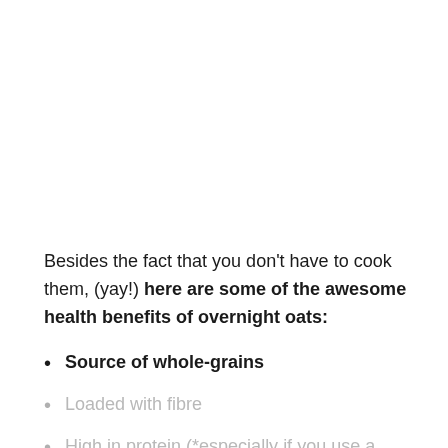Besides the fact that you don't have to cook them, (yay!) here are some of the awesome health benefits of overnight oats:
Source of whole-grains
Loaded with fibre
High in protein (*especially if you use a protein-